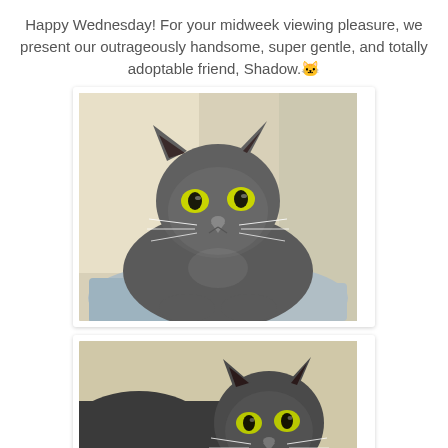Happy Wednesday! For your midweek viewing pleasure, we present our outrageously handsome, super gentle, and totally adoptable friend, Shadow.🐱
[Figure (photo): A gray cat with bright yellow-green eyes lying on a blue blanket inside a shelter kennel, facing the camera directly.]
[Figure (photo): The same gray cat with bright yellow-green eyes resting on a surface, turned slightly to show a side/front angle, in a shelter environment.]